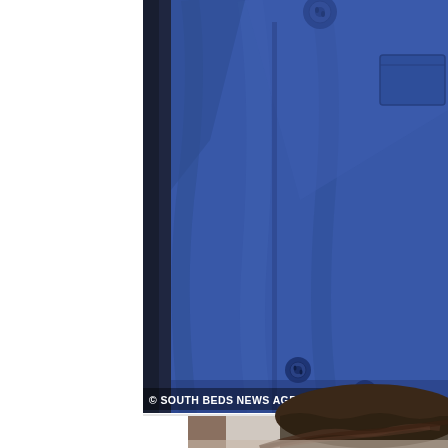[Figure (photo): Close-up photo of a person's torso wearing a blue denim/cotton jacket with buttons visible, alongside a dark jacket on the left side. Watermark reads '© SOUTH BEDS NEWS AGENCY'.]
[Figure (photo): Black and white / sepia-toned close-up photo of a person with dark, tousled/messy hair. Only the top of the head and forehead/eyes are partially visible. Background shows a blurred vertical post or pole.]